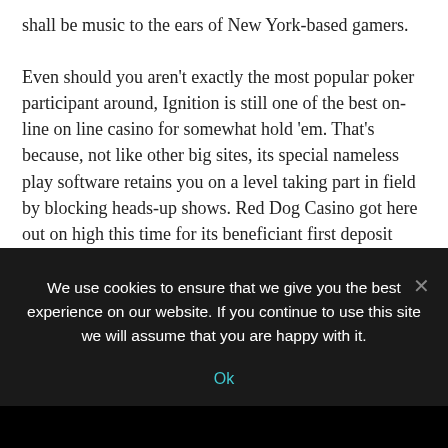shall be music to the ears of New York-based gamers.

Even should you aren't exactly the most popular poker participant around, Ignition is still one of the best on-line on line casino for somewhat hold 'em. That's because, not like other big sites, its special nameless play software retains you on a level taking part in field by blocking heads-up shows. Red Dog Casino got here out on high this time for its beneficiant first deposit match, top-notch customer service, and epic jackpots, however we're sure that any of our casino websites will do you properly. Slots — This will make up a big portion of video games at most
We use cookies to ensure that we give you the best experience on our website. If you continue to use this site we will assume that you are happy with it.
Ok